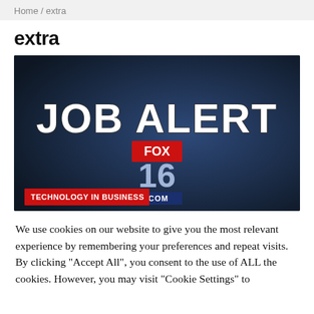Home / extra
extra
[Figure (screenshot): FOX 16 Job Alert thumbnail with text 'JOB ALERT' in large bold white letters, FOX 16 .COM logo in center, and red banner 'TECHNOLOGY IN BUSINESS' at bottom left. Dark navy blue gradient background.]
We use cookies on our website to give you the most relevant experience by remembering your preferences and repeat visits. By clicking "Accept All", you consent to the use of ALL the cookies. However, you may visit "Cookie Settings" to